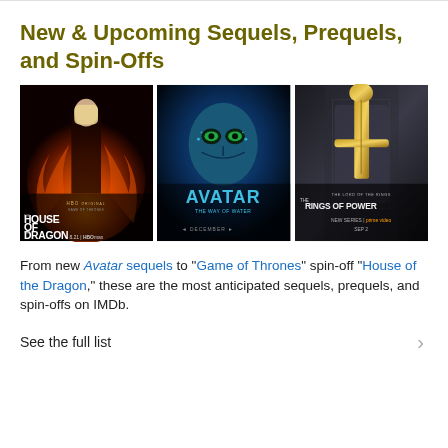New & Upcoming Sequels, Prequels, and Spin-Offs
[Figure (photo): Three movie/TV show posters side by side: House of the Dragon (HBO Max), Avatar: The Way of Water, and The Lord of the Rings: The Rings of Power (Prime Video)]
From new Avatar sequels to "Game of Thrones" spin-off "House of the Dragon," these are the most anticipated sequels, prequels, and spin-offs on IMDb.
See the full list